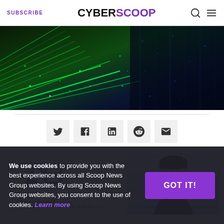SUBSCRIBE | CYBERSCOOP
[Figure (photo): Abstract green and dark blue digital/cyber background with glowing data streams and particles]
[Figure (infographic): Social share buttons: Twitter, Facebook, LinkedIn, Reddit, Email]
[Figure (photo): Advertisement banner with AB logo and person wearing glasses]
We use cookies to provide you with the best experience across all Scoop News Group websites. By using Scoop News Group websites, you consent to the use of cookies. Learn more